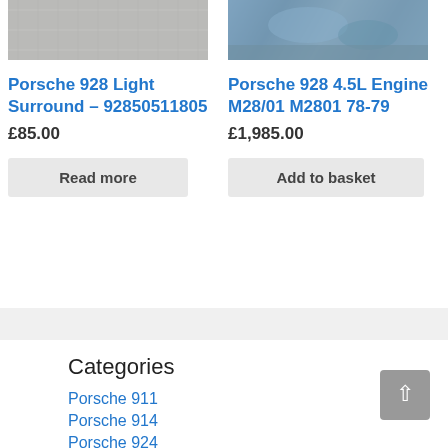[Figure (photo): Close-up photo of a metallic textured surface (light surround part)]
[Figure (photo): Close-up photo of an engine part with weathered/rusty texture]
Porsche 928 Light Surround – 92850511805
Porsche 928 4.5L Engine M28/01 M2801 78-79
£85.00
£1,985.00
Read more
Add to basket
Categories
Porsche 911
Porsche 914
Porsche 924